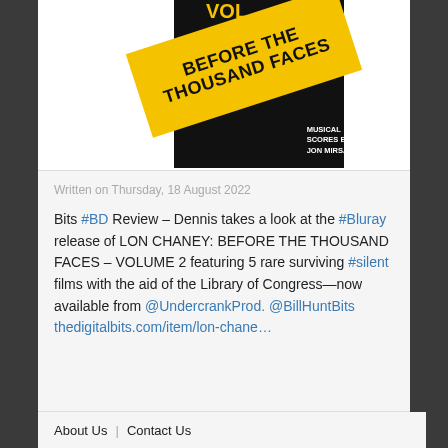[Figure (illustration): Album/Blu-ray cover art for 'Lon Chaney: Before the Thousand Faces – Volume 2' with yellow diagonal band on black background, text 'Before the Thousand Faces', 'Musical Scores by Jon Mirsalis', and 'VOL.' at top in yellow]
Written on Thursday, 18 August 2022
Bits #BD Review – Dennis takes a look at the #Bluray release of LON CHANEY: BEFORE THE THOUSAND FACES – VOLUME 2 featuring 5 rare surviving #silent films with the aid of the Library of Congress—now available from @UndercrankProd. @BillHuntBits thedigitalbits.com/item/lon-chane…
About Us | Contact Us